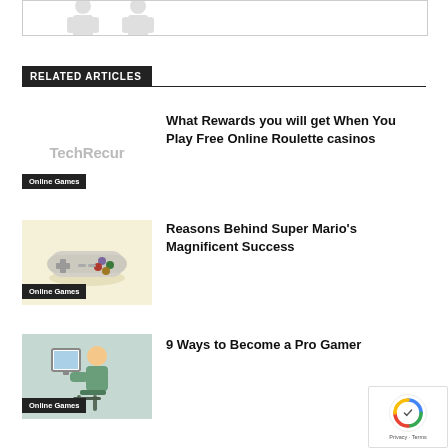[Figure (illustration): Partial top image showing two human silhouette figures in gray against white background, cut off at top]
RELATED ARTICLES
[Figure (logo): TechRecur watermark/placeholder text in light gray]
Online Games
What Rewards you will get When You Play Free Online Roulette casinos
[Figure (photo): Thumbnail image of a Super Nintendo/SNES game controller on a light yellow background with shadow]
Online Games
Reasons Behind Super Mario's Magnificent Success
[Figure (illustration): Thumbnail image showing a person sitting and playing games, on a light teal/green background]
Online Games
9 Ways to Become a Pro Gamer